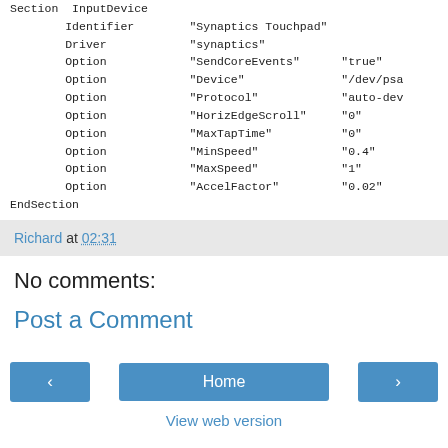Section  InputDevice
        Identifier        "Synaptics Touchpad"
        Driver            "synaptics"
        Option            "SendCoreEvents"      "true"
        Option            "Device"              "/dev/psa
        Option            "Protocol"            "auto-dev
        Option            "HorizEdgeScroll"     "0"
        Option            "MaxTapTime"          "0"
        Option            "MinSpeed"            "0.4"
        Option            "MaxSpeed"            "1"
        Option            "AccelFactor"         "0.02"
EndSection
Richard at 02:31
No comments:
Post a Comment
< Home >
View web version